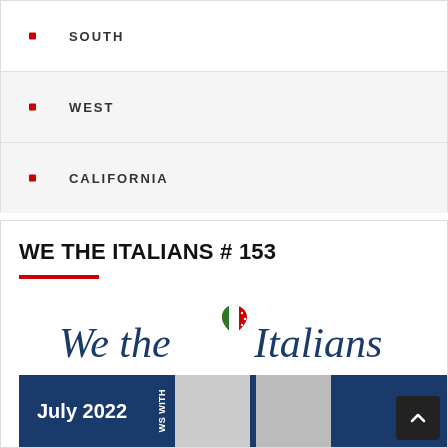SOUTH
WEST
CALIFORNIA
WE THE ITALIANS # 153
[Figure (logo): We the Italians logo with heart shape containing Italian-American flag colors]
[Figure (photo): We the Italians magazine cover for July 2022 with two women photographed, dark navy background]